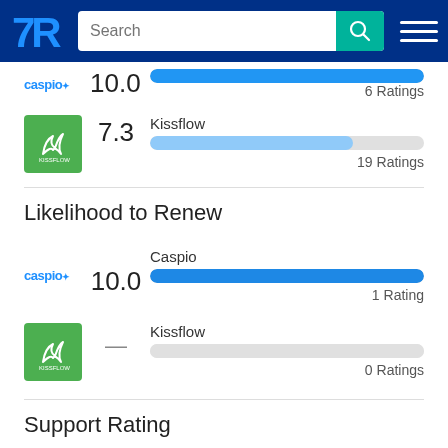[Figure (screenshot): TrustRadius website header with logo, search bar, and hamburger menu]
caspio  10.0  6 Ratings
Kissflow  7.3  19 Ratings
Likelihood to Renew
Caspio  10.0  1 Rating
Kissflow  —  0 Ratings
Support Rating
Caspio